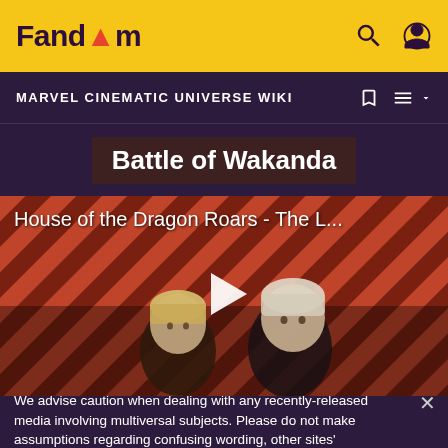Fandom
MARVEL CINEMATIC UNIVERSE WIKI
Battle of Wakanda
[Figure (screenshot): Video thumbnail for 'House of the Dragon Roars - The L...' showing two characters with a striped red-brown background and a white play button in the center]
We advise caution when dealing with any recently-released media involving multiversal subjects. Please do not make assumptions regarding confusing wording, other sites' speculation, and people's headcanon around the internet.